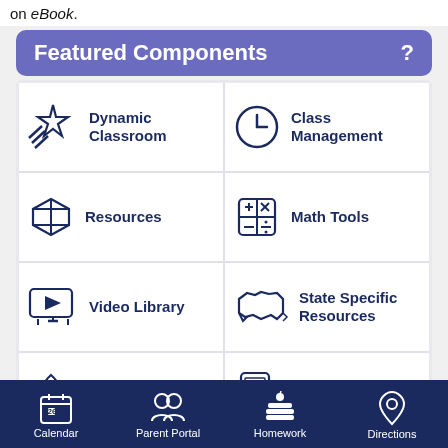on eBook.
Featured Components
[Figure (infographic): Grid of 8 feature icons: Dynamic Classroom, Class Management, Resources, Math Tools, Video Library, State Specific Resources, Quick Start Guide, eBook (highlighted yellow)]
Calendar | Parent Portal | Homework | Directions